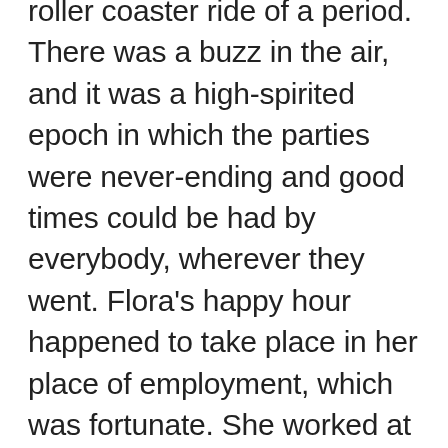roller coaster ride of a period. There was a buzz in the air, and it was a high-spirited epoch in which the parties were never-ending and good times could be had by everybody, wherever they went. Flora's happy hour happened to take place in her place of employment, which was fortunate. She worked at The Concord, a luxurious and trendy resort in the Catskills that was built in the 1920s. Because it had 1,200 rooms, the Concord was a popular destination for both tourists and locals looking to unwind.